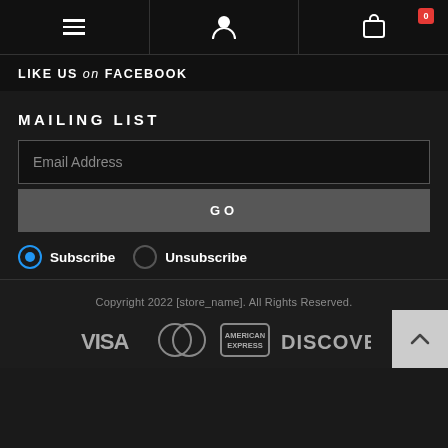Navigation bar with hamburger menu, user icon, and cart icon with badge 0
LIKE US on FACEBOOK
MAILING LIST
Email Address (input field)
GO (button)
Subscribe   Unsubscribe
Copyright 2022 [store_name]. All Rights Reserved. Payment icons: VISA, MasterCard, American Express, DISCOVER